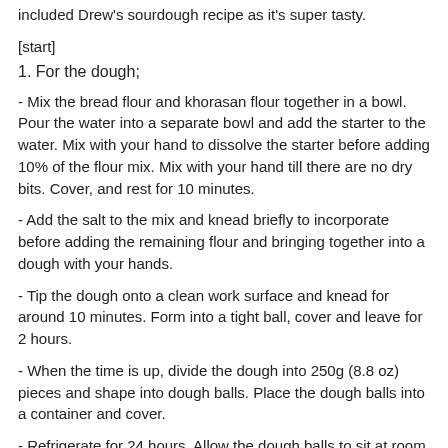included Drew's sourdough recipe as it's super tasty.
[start]
1. For the dough;
- Mix the bread flour and khorasan flour together in a bowl. Pour the water into a separate bowl and add the starter to the water. Mix with your hand to dissolve the starter before adding 10% of the flour mix. Mix with your hand till there are no dry bits. Cover, and rest for 10 minutes.
- Add the salt to the mix and knead briefly to incorporate before adding the remaining flour and bringing together into a dough with your hands.
- Tip the dough onto a clean work surface and knead for around 10 minutes. Form into a tight ball, cover and leave for 2 hours.
- When the time is up, divide the dough into 250g (8.8 oz) pieces and shape into dough balls. Place the dough balls into a container and cover.
- Refrigerate for 24 hours. Allow the dough balls to sit at room